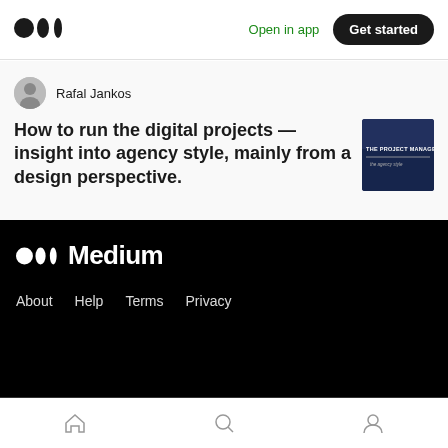Medium — Open in app — Get started
Rafal Jankos
How to run the digital projects — insight into agency style, mainly from a design perspective.
[Figure (photo): Article thumbnail: dark blue image with text 'THE PROJECT MANAGER' (agency style)]
[Figure (logo): Medium logo and name in white on black footer]
About  Help  Terms  Privacy